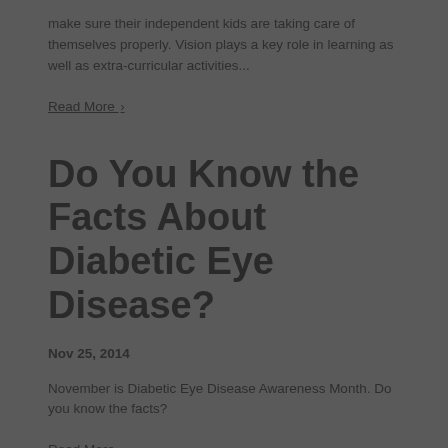make sure their independent kids are taking care of themselves properly. Vision plays a key role in learning as well as extra-curricular activities...
Read More ›
Do You Know the Facts About Diabetic Eye Disease?
Nov 25, 2014
November is Diabetic Eye Disease Awareness Month. Do you know the facts?
Read More ›
7 Things You Should Know About Eyelid Twitches
Oct 31, 2014